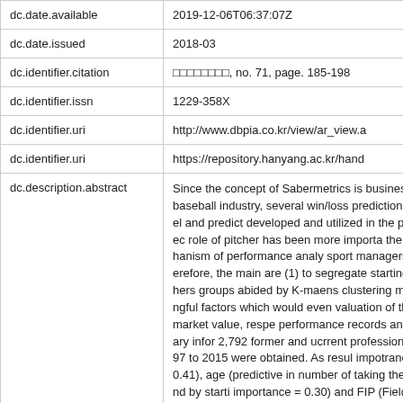| Field | Value |
| --- | --- |
| dc.date.available | 2019-12-06T06:37:07Z |
| dc.date.issued | 2018-03 |
| dc.identifier.citation | □□□□□□□□, no. 71, page. 185-198 |
| dc.identifier.issn | 1229-358X |
| dc.identifier.uri | http://www.dbpia.co.kr/view/ar_view.a |
| dc.identifier.uri | https://repository.hanyang.ac.kr/hand |
| dc.description.abstract | Since the concept of Sabermetrics is business of baseball industry, several win/loss prediction model and predict developed and utilized in the past dec role of pitcher has been more importa the mechanism of performance analy sport managers. Therefore, the main are (1) to segregate starting pitchers groups abided by K-maens clustering meaningful factors which would even valuation of their market value, respe performance records and salary infor 2,792 former and ucrrent professiona 1997 to 2015 were obtained. As resul impotrance = 0.41), age (predictive in number of taking the mound by starti importance = 0.30) and FIP (Fieldi... |